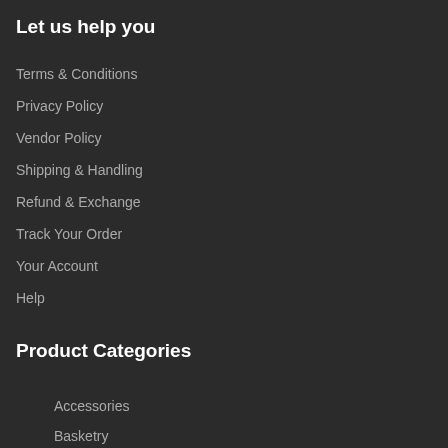Let us help you
Terms & Conditions
Privacy Policy
Vendor Policy
Shipping & Handling
Refund & Exchange
Track Your Order
Your Account
Help
Product Categories
Accessories
Basketry
Bedsheets